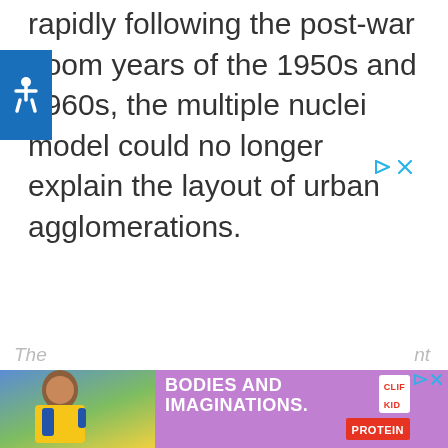rapidly following the post-war boom years of the 1950s and 1960s, the multiple nuclei model could no longer explain the layout of urban agglomerations.
[Figure (other): Blue accessibility icon with wheelchair symbol in top-left corner]
[Figure (other): Ad controls: play and close buttons in cyan color]
The ... nt
[Figure (other): Bottom advertisement banner: BODIES AND IMAGINATIONS. CLIF KID PROTEIN product advertisement with girl and snack bar image, purple background]